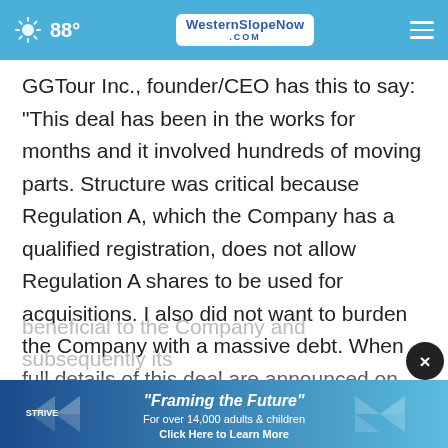88° WesternSlopeNow.com
GGTour Inc., founder/CEO has this to say: "This deal has been in the works for months and it involved hundreds of moving parts. Structure was critical because Regulation A, which the Company has a qualified registration, does not allow Regulation A shares to be used for acquisitions. I also did not want to burden the Company with a massive debt. When full details of this deal are announced on June 14, 2022, at 9:00 AM EST, it will become clear to all shareholders that this acquisition is extremely beneficial to the Company and subsequently its
[Figure (advertisement): STRIVE 'Framing the Future' advertisement banner - For over 14,000 adults & children, Click Here to Learn More]